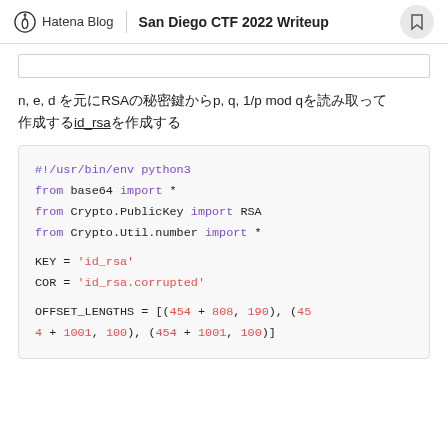Hatena Blog | San Diego CTF 2022 Writeup
n, e, d をRSAの秘密鍵からp, q, 1/p mod q を読み取って id_rsaを作成する
[Figure (screenshot): Python code block showing: #!/usr/bin/env python3, from base64 import *, from Crypto.PublicKey import RSA, from Crypto.Util.number import *, KEY = 'id_rsa', COR = 'id_rsa.corrupted', OFFSET_LENGTHS = [(454 + 808, 190), (45... + 1001, 100), (454 + 1001, 100)]]